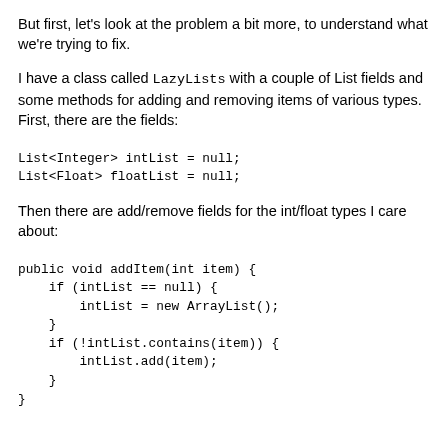But first, let's look at the problem a bit more, to understand what we're trying to fix.
I have a class called LazyLists with a couple of List fields and some methods for adding and removing items of various types. First, there are the fields:
List<Integer> intList = null;
List<Float> floatList = null;
Then there are add/remove fields for the int/float types I care about:
public void addItem(int item) {
    if (intList == null) {
        intList = new ArrayList();
    }
    if (!intList.contains(item)) {
        intList.add(item);
    }
}